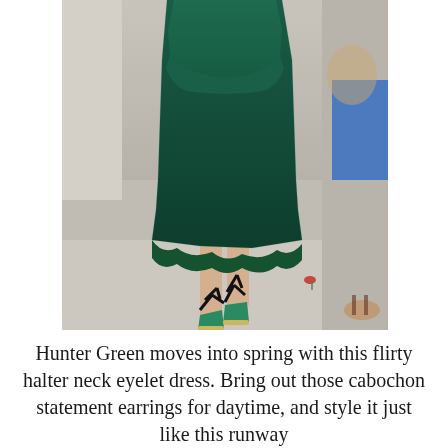[Figure (photo): A model on a fashion runway wearing a hunter green eyelet halter neck peplum top and a matching ruched mermaid skirt with ruffle hem, paired with black lace-up espadrille wedge sandals. Other guests and models are partially visible in the background.]
Hunter Green moves into spring with this flirty halter neck eyelet dress. Bring out those cabochon statement earrings for daytime, and style it just like this runway